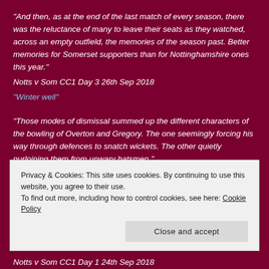“And then, as at the end of the last match of every season, there was the reluctance of many to leave their seats as they watched, across an empty outfield, the memories of the season past. Better memories for Somerset supporters than for Nottinghamshire ones this year.”
Notts v Som CC1 Day 3 26th Sep 2018
“Winter well”
“Those modes of dismissal summed up the different characters of the bowling of Overton and Gregory. The one seemingly forcing his way through defences to snatch wickets. The other quietly purloining them from unwary batsmen.”
Notts v Som CC1 Day 2 25th Sep 2018
Privacy & Cookies: This site uses cookies. By continuing to use this website, you agree to their use.
To find out more, including how to control cookies, see here: Cookie Policy
Close and accept
Notts v Som CC1 Day 1 24th Sep 2018